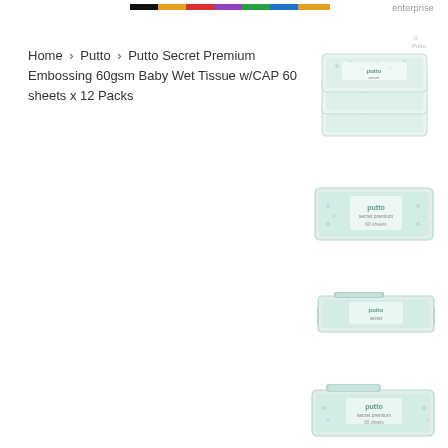enterprise
Home › Putto › Putto Secret Premium Embossing 60gsm Baby Wet Tissue w/CAP 60 sheets x 12 Packs
[Figure (photo): Stack of Putto Secret Premium baby wet tissue packs with teal/mint pattern]
[Figure (photo): Single flat pack of Putto Secret Premium baby wet tissue]
[Figure (photo): Single flat pack of Putto Secret Premium baby wet tissue, side/top view]
[Figure (photo): Single flat pack of Putto Secret Premium baby wet tissue, slightly angled]